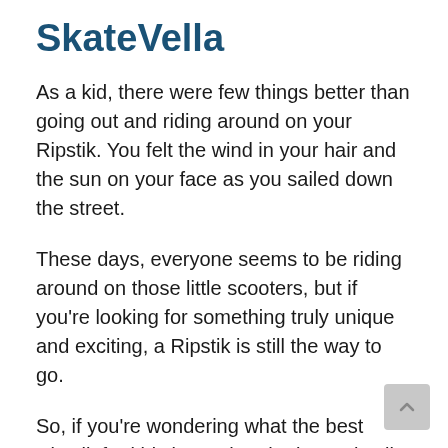SkateVella
As a kid, there were few things better than going out and riding around on your Ripstik. You felt the wind in your hair and the sun on your face as you sailed down the street.
These days, everyone seems to be riding around on those little scooters, but if you're looking for something truly unique and exciting, a Ripstik is still the way to go.
So, if you're wondering what the best Ripstik for kids is or what the best Ripstik for 10 year olds is, we've got you covered. Stay connected with us for the best selection of